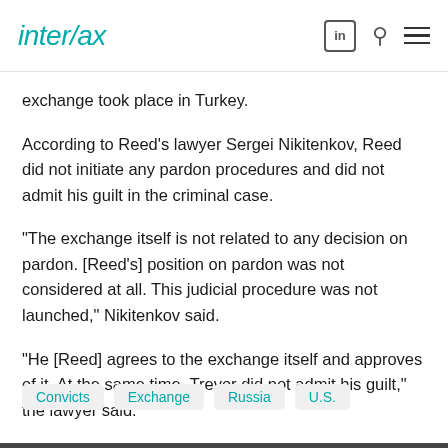interfax
exchange took place in Turkey.
According to Reed's lawyer Sergei Nikitenkov, Reed did not initiate any pardon procedures and did not admit his guilt in the criminal case.
"The exchange itself is not related to any decision on pardon. [Reed's] position on pardon was not considered at all. This judicial procedure was not launched," Nikitenkov said.
"He [Reed] agrees to the exchange itself and approves of it. At the same time, Trevor did not admit his guilt," the lawyer said.
Convicts
Exchange
Russia
U.S.